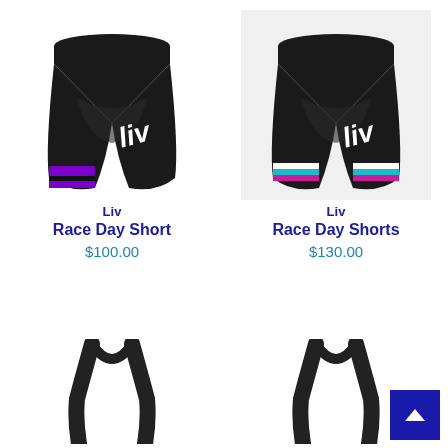[Figure (photo): Black cycling shorts with purple stripe at hem, Liv logo in white on leg. No background.]
Liv
Race Day Short
$100.00
[Figure (photo): Black cycling shorts with multicolor stripe (white, teal, pink) at hem, Liv logo in white on leg. Light gray background box.]
Liv
Race Day Shorts
$130.00
[Figure (photo): Black bib shorts straps shown, partial view at bottom of page.]
[Figure (photo): Black bib shorts straps shown, partial view at bottom of page.]